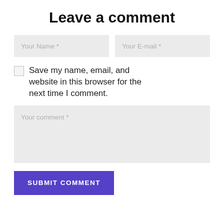Leave a comment
Your Name *
Your E-mail *
Save my name, email, and website in this browser for the next time I comment.
Your comment *
SUBMIT COMMENT